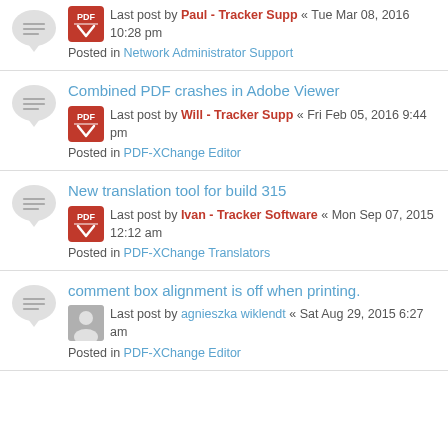Last post by Paul - Tracker Supp « Tue Mar 08, 2016 10:28 pm
Posted in Network Administrator Support
Combined PDF crashes in Adobe Viewer
Last post by Will - Tracker Supp « Fri Feb 05, 2016 9:44 pm
Posted in PDF-XChange Editor
New translation tool for build 315
Last post by Ivan - Tracker Software « Mon Sep 07, 2015 12:12 am
Posted in PDF-XChange Translators
comment box alignment is off when printing.
Last post by agnieszka wiklendt « Sat Aug 29, 2015 6:27 am
Posted in PDF-XChange Editor